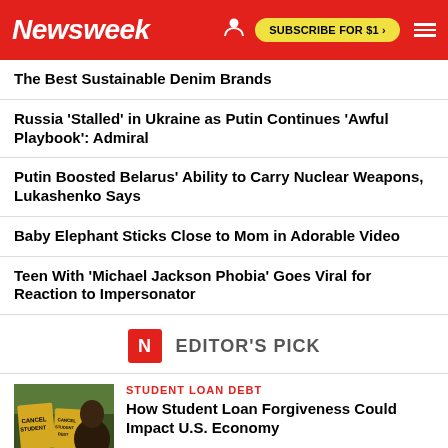Newsweek | SUBSCRIBE FOR $1 >
The Best Sustainable Denim Brands
Russia 'Stalled' in Ukraine as Putin Continues 'Awful Playbook': Admiral
Putin Boosted Belarus' Ability to Carry Nuclear Weapons, Lukashenko Says
Baby Elephant Sticks Close to Mom in Adorable Video
Teen With 'Michael Jackson Phobia' Goes Viral for Reaction to Impersonator
EDITOR'S PICK
STUDENT LOAN DEBT
How Student Loan Forgiveness Could Impact U.S. Economy